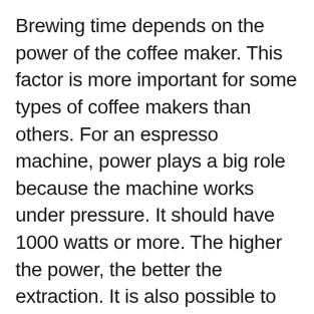Brewing time depends on the power of the coffee maker. This factor is more important for some types of coffee makers than others. For an espresso machine, power plays a big role because the machine works under pressure. It should have 1000 watts or more. The higher the power, the better the extraction. It is also possible to simultaneously prepare two or more cups of coffee with a high-powered espresso machine.